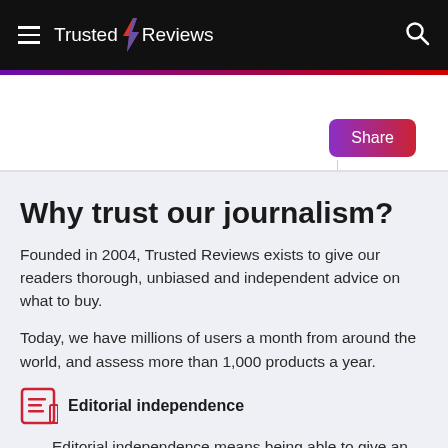Trusted Reviews
Share
Why trust our journalism?
Founded in 2004, Trusted Reviews exists to give our readers thorough, unbiased and independent advice on what to buy.
Today, we have millions of users a month from around the world, and assess more than 1,000 products a year.
Editorial independence
Editorial independence means being able to give an unbiased verdict about a product or